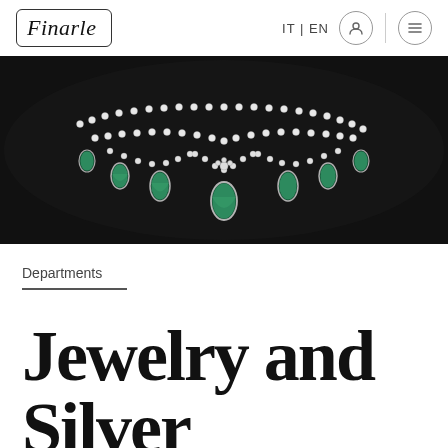Finarle | IT | EN
[Figure (photo): Close-up photo of a diamond and emerald necklace on a dark background. The necklace features multiple strands of diamonds with teardrop-shaped emerald pendants hanging from the bottom.]
Departments
Jewelry and Silver